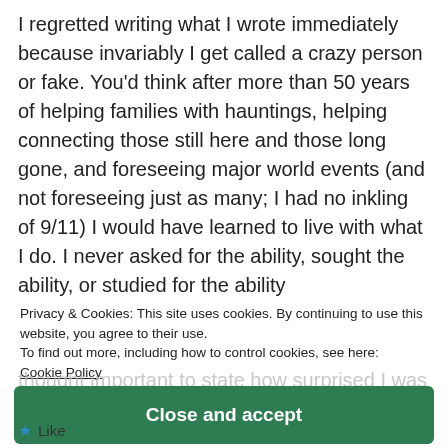I regretted writing what I wrote immediately because invariably I get called a crazy person or fake. You'd think after more than 50 years of helping families with hauntings, helping connecting those still here and those long gone, and foreseeing major world events (and not foreseeing just as many; I had no inkling of 9/11) I would have learned to live with what I do. I never asked for the ability, sought the ability, or studied for the ability
(half the things that happen to me with horrified ... understanding of until
Privacy & Cookies: This site uses cookies. By continuing to use this website, you agree to their use.
To find out more, including how to control cookies, see here:
Cookie Policy
thought important to state how surprised I was to
Close and accept
Like